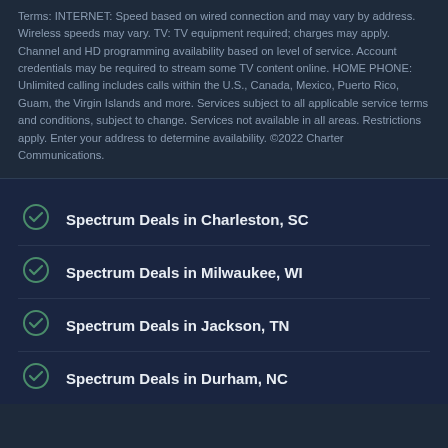Terms: INTERNET: Speed based on wired connection and may vary by address. Wireless speeds may vary. TV: TV equipment required; charges may apply. Channel and HD programming availability based on level of service. Account credentials may be required to stream some TV content online. HOME PHONE: Unlimited calling includes calls within the U.S., Canada, Mexico, Puerto Rico, Guam, the Virgin Islands and more. Services subject to all applicable service terms and conditions, subject to change. Services not available in all areas. Restrictions apply. Enter your address to determine availability. ©2022 Charter Communications.
Spectrum Deals in Charleston, SC
Spectrum Deals in Milwaukee, WI
Spectrum Deals in Jackson, TN
Spectrum Deals in Durham, NC